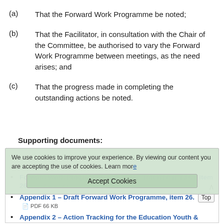(a)   That the Forward Work Programme be noted;
(b)   That the Facilitator, in consultation with the Chair of the Committee, be authorised to vary the Forward Work Programme between meetings, as the need arises; and
(c)   That the progress made in completing the outstanding actions be noted.
Supporting documents:
Forward Work Programme and Action Tracking (EY&C), item 26.  PDF 82 KB
We use cookies to improve your experience. By viewing our content you are accepting the use of cookies. Learn more
Accept Cookies
Appendix 1 – Draft Forward Work Programme, item 26.  PDF 66 KB
Appendix 2 – Action Tracking for the Education Youth & Culture OSC, item 26.  PDF